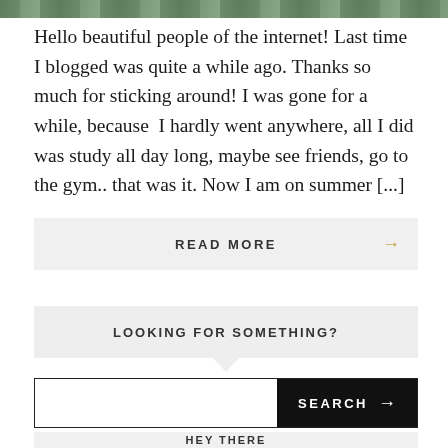[Figure (photo): Partial top strip of a photo showing green foliage/outdoor scene]
Hello beautiful people of the internet! Last time I blogged was quite a while ago. Thanks so much for sticking around! I was gone for a while, because  I hardly went anywhere, all I did was study all day long, maybe see friends, go to the gym.. that was it. Now I am on summer [...]
READ MORE →
LOOKING FOR SOMETHING?
SEARCH →
HEY THERE